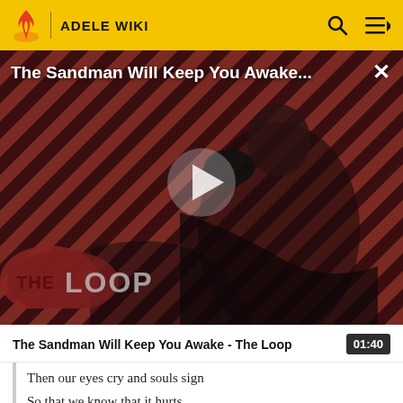ADELE WIKI
[Figure (screenshot): Video thumbnail showing a man in dark clothing against a red and black diagonal striped background, with 'THE LOOP' logo overlay and a play button. Title reads 'The Sandman Will Keep You Awake...']
The Sandman Will Keep You Awake - The Loop
01:40
Then our eyes cry and souls sign
So that we know that it hurts
Our hearts break and hands wave